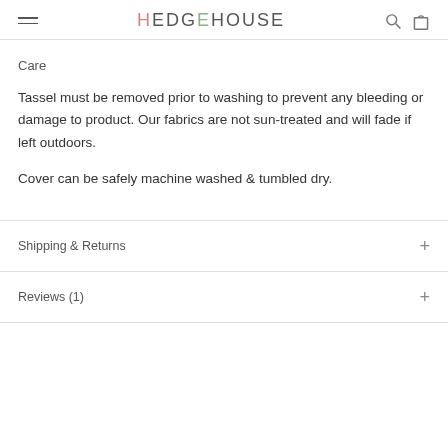HEDGEHOUSE
Care
Tassel must be removed prior to washing to prevent any bleeding or damage to product. Our fabrics are not sun-treated and will fade if left outdoors.
Cover can be safely machine washed & tumbled dry.
Shipping & Returns
Reviews (1)